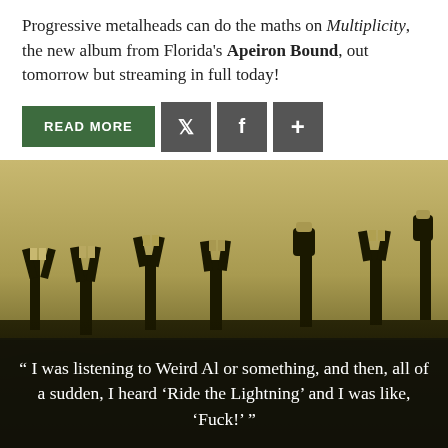Progressive metalheads can do the maths on Multiplicity, the new album from Florida's Apeiron Bound, out tomorrow but streaming in full today!
[Figure (other): Row of social/action buttons: green READ MORE button, dark grey Twitter bird icon, dark grey Facebook f icon, dark grey plus (+) icon]
[Figure (photo): Dark olive-toned silhouette photo of a metal concert crowd with hands raised, many throwing devil horns gesture, against a lighter sky background]
" I was listening to Weird Al or something, and then, all of a sudden, I heard 'Ride the Lightning' and I was like, 'Fuck!' "